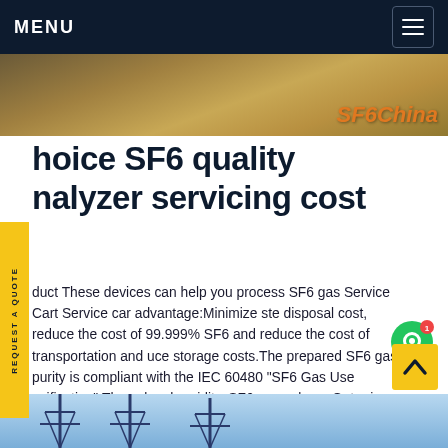MENU
[Figure (photo): Industrial machinery/equipment photo with SF6China branding overlay]
hoice SF6 quality nalyzer servicing cost
duct These devices can help you process SF6 gas Service Cart Service car advantage:Minimize ste disposal cost, reduce the cost of 99.999% SF6 and reduce the cost of transportation and uce storage costs.The prepared SF6 gas purity is compliant with the IEC 60480 "SF6 Gas Use ecification".The value, humidity, SF6 gas volume,Get price
[Figure (photo): Electrical transmission towers against blue sky at bottom of page]